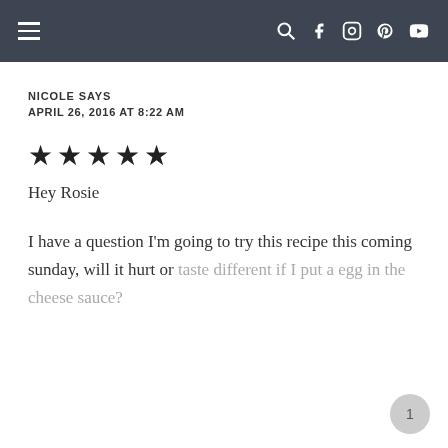Navigation bar with hamburger menu and social icons (search, Facebook, Instagram, Pinterest, YouTube)
NICOLE SAYS
APRIL 26, 2016 AT 8:22 AM
★★★★★
Hey Rosie

I have a question I'm going to try this recipe this coming sunday, will it hurt or taste different if I put a egg in the cheese sauce?